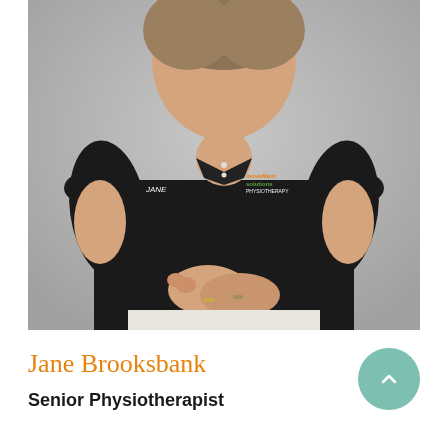[Figure (photo): Professional headshot/portrait of Jane Brooksbank, a woman wearing a black polo shirt with 'Movement Solutions Physiotherapy' logo and name badge reading 'JANE'. She is standing with hands clasped in front, against a grey background. She is wearing white trousers.]
Jane Brooksbank
Senior Physiotherapist